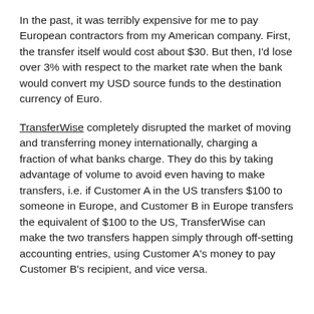In the past, it was terribly expensive for me to pay European contractors from my American company. First, the transfer itself would cost about $30. But then, I'd lose over 3% with respect to the market rate when the bank would convert my USD source funds to the destination currency of Euro.
TransferWise completely disrupted the market of moving and transferring money internationally, charging a fraction of what banks charge. They do this by taking advantage of volume to avoid even having to make transfers, i.e. if Customer A in the US transfers $100 to someone in Europe, and Customer B in Europe transfers the equivalent of $100 to the US, TransferWise can make the two transfers happen simply through off-setting accounting entries, using Customer A's money to pay Customer B's recipient, and vice versa.